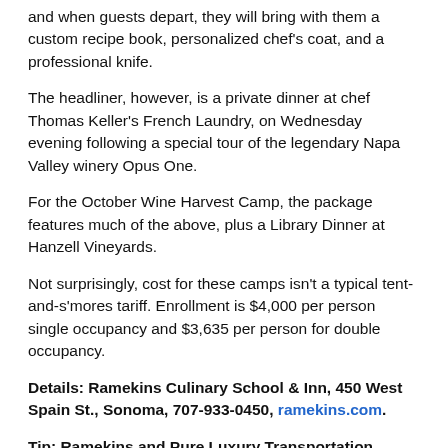and when guests depart, they will bring with them a custom recipe book, personalized chef's coat, and a professional knife.
The headliner, however, is a private dinner at chef Thomas Keller's French Laundry, on Wednesday evening following a special tour of the legendary Napa Valley winery Opus One.
For the October Wine Harvest Camp, the package features much of the above, plus a Library Dinner at Hanzell Vineyards.
Not surprisingly, cost for these camps isn't a typical tent-and-s'mores tariff. Enrollment is $4,000 per person single occupancy and $3,635 per person for double occupancy.
Details: Ramekins Culinary School & Inn, 450 West Spain St., Sonoma, 707-933-0450, ramekins.com.
Tip: Ramekins and Pure Luxury Transportation coordinate many events together. Be sure to ask about special packages on limos and Town Cars for